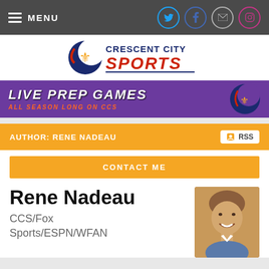MENU
[Figure (logo): Crescent City Sports logo with crescent moon and fleur-de-lis icon]
[Figure (infographic): Live Prep Games - All Season Long on CCS banner, purple background with white and orange text]
AUTHOR: RENE NADEAU
CONTACT ME
Rene Nadeau
CCS/Fox Sports/ESPN/WFAN
[Figure (photo): Headshot photo of Rene Nadeau, smiling middle-aged man]